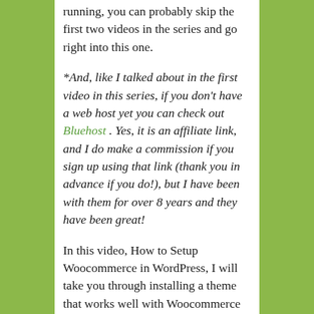running, you can probably skip the first two videos in the series and go right into this one.
*And, like I talked about in the first video in this series, if you don't have a web host yet you can check out Bluehost . Yes, it is an affiliate link, and I do make a commission if you sign up using that link (thank you in advance if you do!), but I have been with them for over 8 years and they have been great!
In this video, How to Setup Woocommerce in WordPress, I will take you through installing a theme that works well with Woocommerce called Storefront. It is a free theme made specifically to work with Woocommerce. I decided to switch themes after the second video since this theme works better on something like...